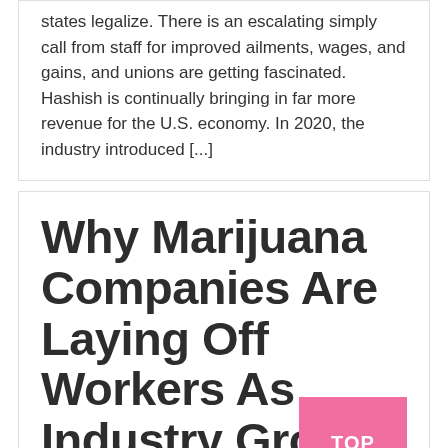states legalize. There is an escalating simply call from staff for improved ailments, wages, and gains, and unions are getting fascinated.  Hashish is continually bringing in far more revenue for the U.S. economy. In 2020, the industry introduced [...]
Why Marijuana Companies Are Laying Off Workers As Industry Grows